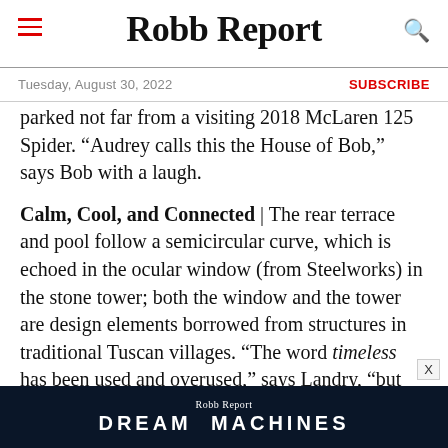Robb Report
Tuesday, August 30, 2022 | SUBSCRIBE
parked not far from a visiting 2018 McLaren 125 Spider. “Audrey calls this the House of Bob,” says Bob with a laugh.
Calm, Cool, and Connected | The rear terrace and pool follow a semicircular curve, which is echoed in the ocular window (from Steelworks) in the stone tower; both the window and the tower are design elements borrowed from structures in traditional Tuscan villages. “The word timeless has been used and overused,” says Landry, “but we hope that some might look
[Figure (advertisement): Robb Report Dream Machines advertisement banner with dark blue background and city night skyline image]